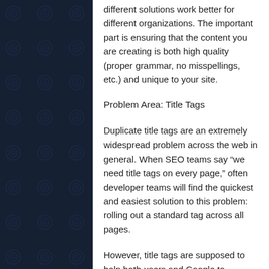different solutions work better for different organizations. The important part is ensuring that the content you are creating is both high quality (proper grammar, no misspellings, etc.) and unique to your site.
Problem Area: Title Tags
Duplicate title tags are an extremely widespread problem across the web in general. When SEO teams say "we need title tags on every page," often developer teams will find the quickest and easiest solution to this problem: rolling out a standard tag across all pages.
However, title tags are supposed to help both users and Google to